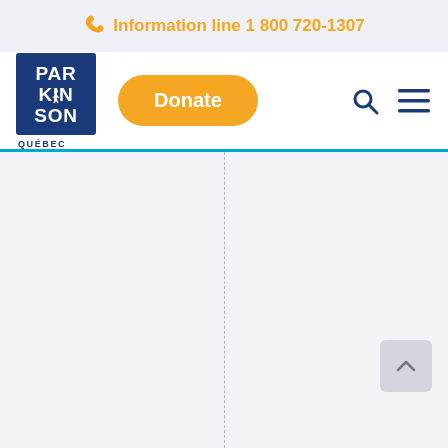Information line 1 800 720-1307
[Figure (logo): Parkinson Quebec logo: dark blue square with PAR KIN SON text in white bold letters and a human figure icon, with QUÉBEC text below in dark blue]
Donate
[Figure (screenshot): Main content area with light gray background, a vertical dashed divider line in the center, and a scroll-to-top arrow button in the bottom right corner]